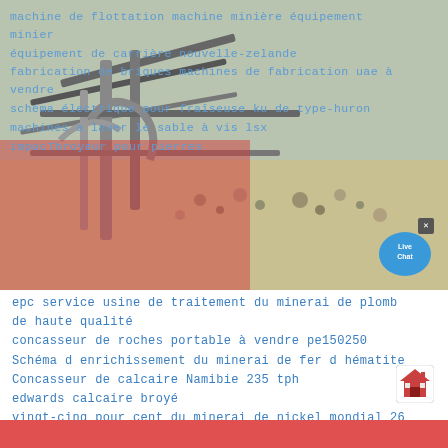[Figure (photo): Mining equipment photo showing flotation machine and conveyor belts at a mining site, with AMC logo visible]
machine de flottation machine minière équipement minier
équipement de carrière nouvelle-zelande
fabrication de briques machines de fabrication uae à vendre
schéma électrique pour fraîseuse ku de type-huron
machines a laver le sable à vis lsx
impact broyeur pour pierres
epc service usine de traitement du minerai de plomb de haute qualité
concasseur de roches portable à vendre pe150250
Schéma d enrichissement du minerai de fer d hématite
Concasseur de calcaire Namibie 235 tph
edwards calcaire broyé
vingt-cinq pour cent du minerai de nickel mondial 26
23399 3bs est extrait